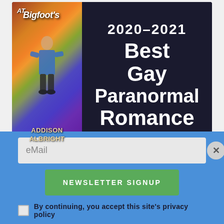[Figure (illustration): Book award promotional image: left side shows book cover for a novel set 'At Bigfoot's' by Addison Albright with a rainbow-colored design and a person walking; right side dark navy panel with white bold text reading '2020-2021 Best Gay Paranormal Romance']
eMail
NEWSLETTER SIGNUP
By continuing, you accept this site's privacy policy